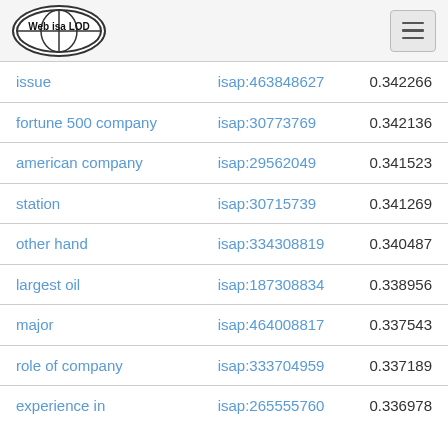Web isa LOD
| term | isap | score |
| --- | --- | --- |
| issue | isap:463848627 | 0.342266 |
| fortune 500 company | isap:30773769 | 0.342136 |
| american company | isap:29562049 | 0.341523 |
| station | isap:30715739 | 0.341269 |
| other hand | isap:334308819 | 0.340487 |
| largest oil | isap:187308834 | 0.338956 |
| major | isap:464008817 | 0.337543 |
| role of company | isap:333704959 | 0.337189 |
| experience in | isap:265555760 | 0.336978 |